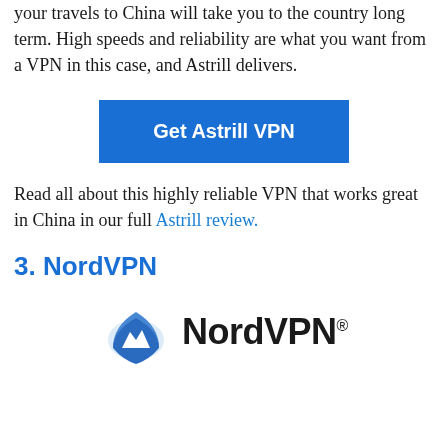your travels to China will take you to the country long term. High speeds and reliability are what you want from a VPN in this case, and Astrill delivers.
[Figure (other): Blue button labeled 'Get Astrill VPN']
Read all about this highly reliable VPN that works great in China in our full Astrill review.
3. NordVPN
[Figure (logo): NordVPN logo with blue shield/mountain icon and bold NordVPN wordmark]